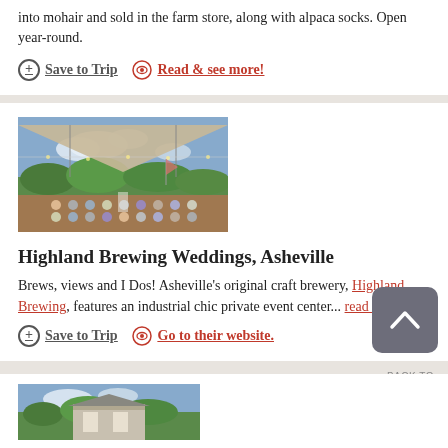into mohair and sold in the farm store, along with alpaca socks. Open year-round.
Save to Trip
Read & see more!
[Figure (photo): Outdoor wedding ceremony on a rooftop deck with shade canopies, guests seated in rows, green hills in background]
Highland Brewing Weddings, Asheville
Brews, views and I Dos! Asheville's original craft brewery, Highland Brewing, features an industrial chic private event center... read more
Save to Trip
Go to their website.
[Figure (photo): Building exterior with trees]
BACK TO TOP